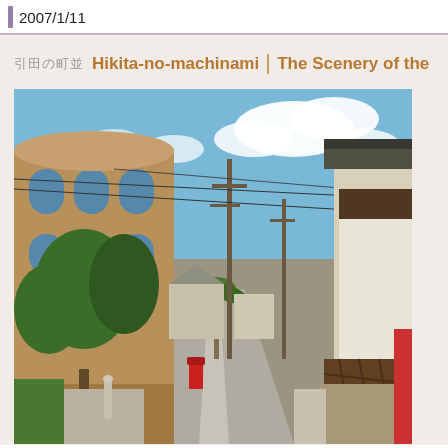2007/1/11
引田の町並み　Hikita-no-machinami　The Scenery of the Town of Hikita
[Figure (photo): Street scene showing a Japanese town with a brick building on the left with arched windows and greenery, an empty road leading to the center, utility poles, and traditional Japanese architecture with white walls and dark wooden elements on the right side. Clear blue sky with clouds.]